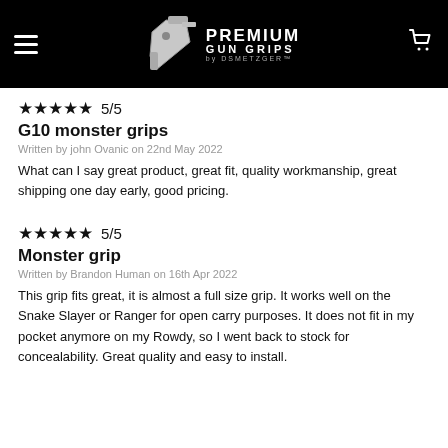Premium Gun Grips by DSMETZGER
★★★★★ 5/5
G10 monster grips
Written by john Ovanic on 22nd May 2022
What can I say great product, great fit, quality workmanship, great shipping one day early, good pricing.
★★★★★ 5/5
Monster grip
Written by Brandon Human on 16th Apr 2022
This grip fits great, it is almost a full size grip. It works well on the Snake Slayer or Ranger for open carry purposes. It does not fit in my pocket anymore on my Rowdy, so I went back to stock for concealability. Great quality and easy to install.